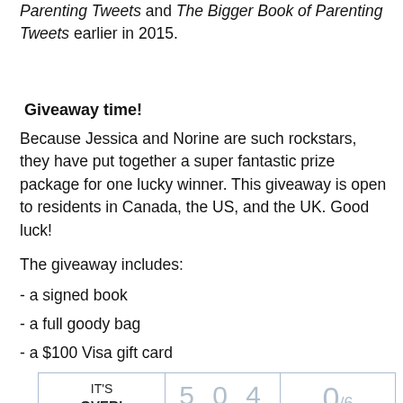Parenting Tweets and The Bigger Book of Parenting Tweets earlier in 2015.
Giveaway time!
Because Jessica and Norine are such rockstars, they have put together a super fantastic prize package for one lucky winner. This giveaway is open to residents in Canada, the US, and the UK. Good luck!
The giveaway includes:
- a signed book
- a full goody bag
- a $100 Visa gift card
| IT'S OVER! | 5 0 4 | 0/6 |
| --- | --- | --- |
| SIGNED Science of Parenthood Book |  |  |